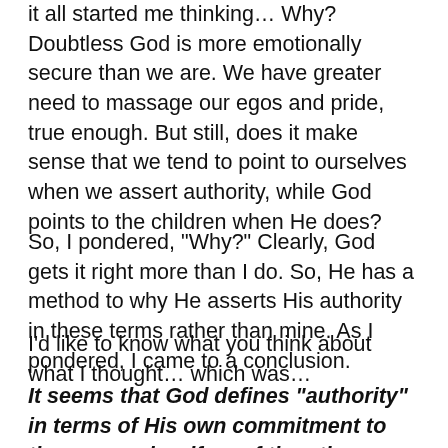it all started me thinking... Why? Doubtless God is more emotionally secure than we are. We have greater need to massage our egos and pride, true enough. But still, does it make sense that we tend to point to ourselves when we assert authority, while God points to the children when He does?
So, I pondered, “Why?” Clearly, God gets it right more than I do. So, He has a method to why He asserts His authority in these terms rather than mine. As I pondered, I came to a conclusion.
I’d like to know what you think about what I thought… which was…
It seems that God defines “authority” in terms of His own commitment to the care and welfare of the other.